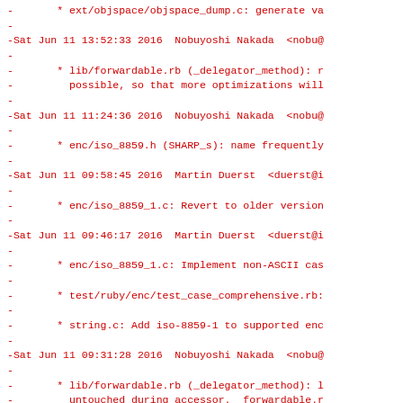- 	 * ext/objspace/objspace_dump.c: generate va
-
-Sat Jun 11 13:52:33 2016  Nobuyoshi Nakada  <nobu@
-
-	 * lib/forwardable.rb (_delegator_method): r
-	   possible, so that more optimizations will
-
-Sat Jun 11 11:24:36 2016  Nobuyoshi Nakada  <nobu@
-
-	 * enc/iso_8859.h (SHARP_s): name frequently
-
-Sat Jun 11 09:58:45 2016  Martin Duerst  <duerst@i
-
-	 * enc/iso_8859_1.c: Revert to older version
-
-Sat Jun 11 09:46:17 2016  Martin Duerst  <duerst@i
-
-	 * enc/iso_8859_1.c: Implement non-ASCII cas
-
-	 * test/ruby/enc/test_case_comprehensive.rb:
-
-	 * string.c: Add iso-8859-1 to supported enc
-
-Sat Jun 11 09:31:28 2016  Nobuyoshi Nakada  <nobu@
-
-	 * lib/forwardable.rb (_delegator_method): l
-	   untouched during accessor.  forwardable.r
-	   the backtrace during delegated method bec
-	   optimization.